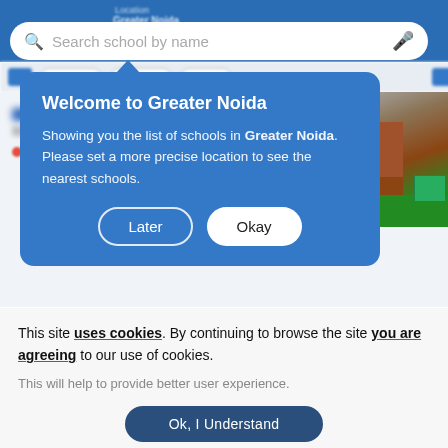[Figure (screenshot): Mobile app screenshot showing a school search interface with a blue header, search bar, and a blue tooltip popup saying 'Welcome to Greater Noida' with Later and Okay buttons. Background shows blurred school listing content.]
This site uses cookies. By continuing to browse the site you are agreeing to our use of cookies.
This will help to provide better user experience.
Ok, I Understand